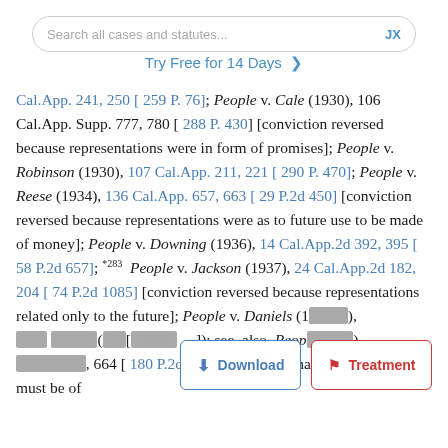Search all cases and statutes... JX
Try Free for 14 Days >
Cal.App. 241, 250 [ 259 P. 76]; People v. Cale (1930), 106 Cal.App. Supp. 777, 780 [ 288 P. 430] [conviction reversed because representations were in form of promises]; People v. Robinson (1930), 107 Cal.App. 211, 221 [ 290 P. 470]; People v. Reese (1934), 136 Cal.App. 657, 663 [ 29 P.2d 450] [conviction reversed because representations were as to future use to be made of money]; People v. Downing (1936), 14 Cal.App.2d 392, 395 [ 58 P.2d 657]; *283 People v. Jackson (1937), 24 Cal.App.2d 182, 204 [ 74 P.2d 1085] [conviction reversed because representations related only to the future]; People v. Daniels (1___), __ Cal.App._d (___[__6 P._____]); see, also, People (__________), __________, 664 [ 180 P.2d 453] [conceding that representation must be of
[Figure (screenshot): Download and Treatment buttons overlay]